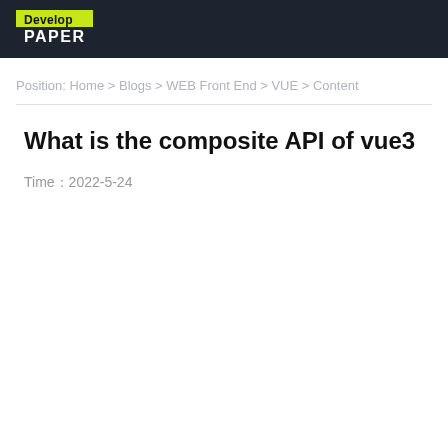Develop PAPER
Position: Home > Blogs > WEB Front End > VUE > Content
What is the composite API of vue3
Time：2022-5-24